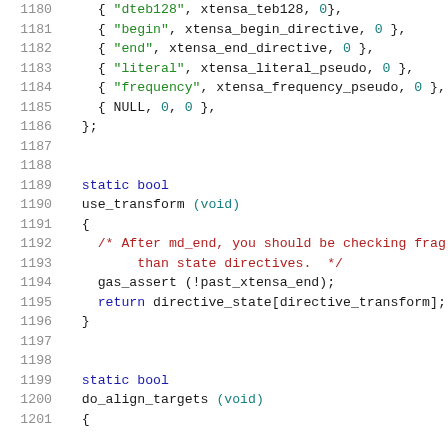[Figure (screenshot): Source code listing lines 1180-1201 in C, showing array entries with string literals and function identifiers, followed by two static bool function definitions: use_transform and do_align_targets.]